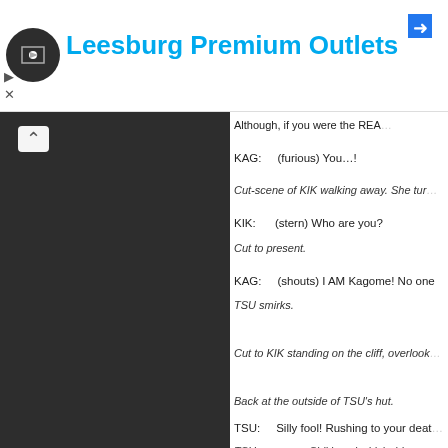Leesburg Premium Outlets
[Figure (screenshot): Dark panel showing a media/video player interface]
Although, if you were the REA...
KAG:     (furious) You...!
Cut-scene of KIK walking away. She tur...
KIK:     (stern) Who are you?
Cut to present.
KAG:     (shouts) I AM Kagome! No one...
TSU smirks.
Cut to KIK standing on the cliff, overlook...
Back at the outside of TSU's hut.
TSU:     Silly fool! Rushing to your death...
TSU squeezes Shikigami which drips m... her neck glow. She falls forward.
SAN:     Kagome!